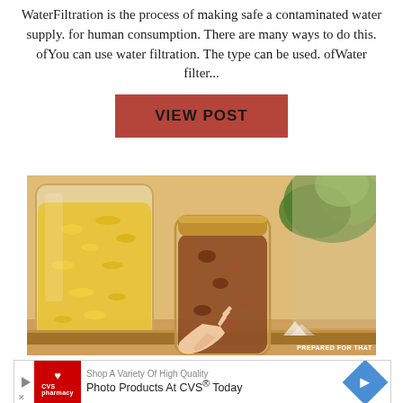WaterFiltration is the process of making safe a contaminated water supply. for human consumption. There are many ways to do this. ofYou can use water filtration. The type can be used. ofWater filter...
VIEW POST
[Figure (photo): A hand reaching for a glass jar filled with dried beans or nuts on a wooden pantry shelf with other glass jars of pasta/grains and a plant in the background. Watermark reads PREPARED FOR THAT.]
[Figure (other): CVS Pharmacy advertisement banner: Shop A Variety Of High Quality Photo Products At CVS Today with CVS logo and directional arrow.]